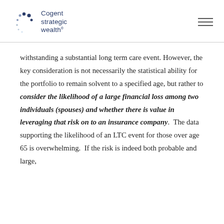Cogent strategic wealth
withstanding a substantial long term care event. However, the key consideration is not necessarily the statistical ability for the portfolio to remain solvent to a specified age, but rather to consider the likelihood of a large financial loss among two individuals (spouses) and whether there is value in leveraging that risk on to an insurance company. The data supporting the likelihood of an LTC event for those over age 65 is overwhelming. If the risk is indeed both probable and large,